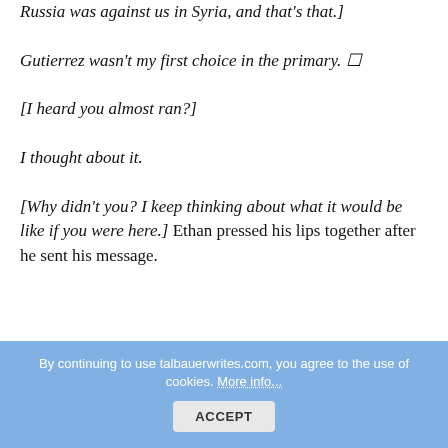Russia was against us in Syria, and that's that.]
Gutierrez wasn't my first choice in the primary. ☐
[I heard you almost ran?]
I thought about it.
[Why didn't you? I keep thinking about what it would be like if you were here.] Ethan pressed his lips together after he sent his message. Depending on how... was exactly what Ethan meant.